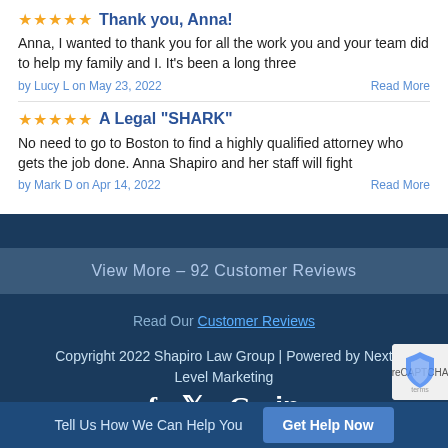★★★★★ Thank you, Anna!
Anna, I wanted to thank you for all the work you and your team did to help my family and I. It's been a long three
by Lucy L on May 23, 2022   Read More
★★★★★ A Legal "SHARK"
No need to go to Boston to find a highly qualified attorney who gets the job done. Anna Shapiro and her staff will fight
by Mark D on Apr 14, 2022   Read More
View More – 92  Customer Reviews
Read Our Customer Reviews
Copyright 2022 Shapiro Law Group | Powered by Next Level Marketing
[Figure (logo): Social media icons: Facebook, Twitter, Google, LinkedIn in white]
[Figure (logo): reCAPTCHA badge partially visible in bottom right corner]
Tell Us How We Can Help You   Get Help Now